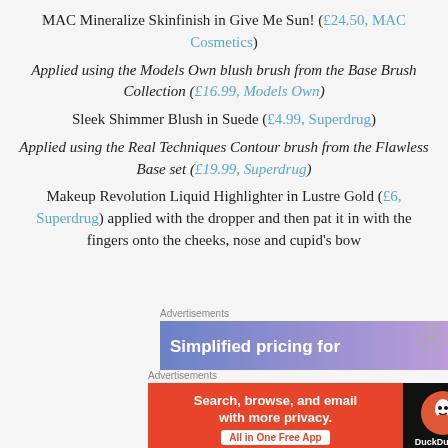MAC Mineralize Skinfinish in Give Me Sun! (£24.50, MAC Cosmetics)
Applied using the Models Own blush brush from the Base Brush Collection (£16.99, Models Own)
Sleek Shimmer Blush in Suede (£4.99, Superdrug)
Applied using the Real Techniques Contour brush from the Flawless Base set (£19.99, Superdrug)
Makeup Revolution Liquid Highlighter in Lustre Gold (£6, Superdrug) applied with the dropper and then pat it in with the fingers onto the cheeks, nose and cupid's bow
[Figure (screenshot): Advertisement banner: 'Simplified pricing for' with purple gradient background]
[Figure (screenshot): DuckDuckGo advertisement: 'Search, browse, and email with more privacy. All in One Free App' with orange/red background and DuckDuckGo logo on black right panel]